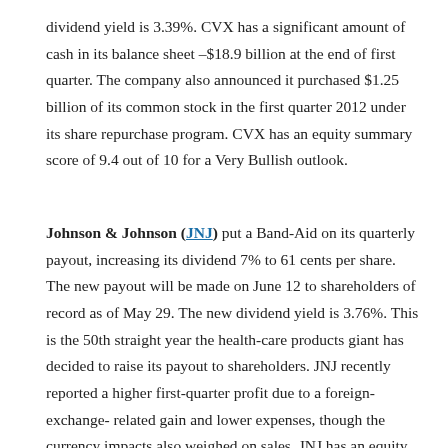dividend yield is 3.39%. CVX has a significant amount of cash in its balance sheet –$18.9 billion at the end of first quarter. The company also announced it purchased $1.25 billion of its common stock in the first quarter 2012 under its share repurchase program. CVX has an equity summary score of 9.4 out of 10 for a Very Bullish outlook.
Johnson & Johnson (JNJ) put a Band-Aid on its quarterly payout, increasing its dividend 7% to 61 cents per share. The new payout will be made on June 12 to shareholders of record as of May 29. The new dividend yield is 3.76%. This is the 50th straight year the health-care products giant has decided to raise its payout to shareholders. JNJ recently reported a higher first-quarter profit due to a foreign-exchange- related gain and lower expenses, though the currency impacts also weighed on sales. JNJ has an equity summary score of 8.4 out of 10 for a Bullish outlook.